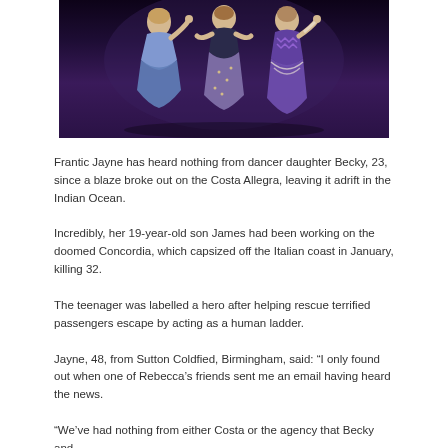[Figure (photo): Three women in colorful performance dance costumes against a dark background]
Frantic Jayne has heard nothing from dancer daughter Becky, 23, since a blaze broke out on the Costa Allegra, leaving it adrift in the Indian Ocean.
Incredibly, her 19-year-old son James had been working on the doomed Concordia, which capsized off the Italian coast in January, killing 32.
The teenager was labelled a hero after helping rescue terrified passengers escape by acting as a human ladder.
Jayne, 48, from Sutton Coldfied, Birmingham, said: “I only found out when one of Rebecca’s friends sent me an email having heard the news.
“We’ve had nothing from either Costa or the agency that Becky and